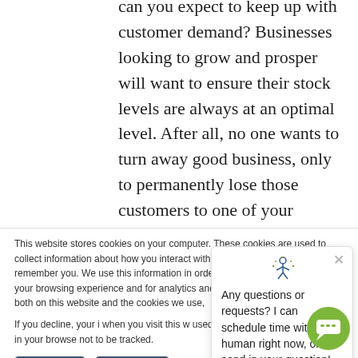can you expect to keep up with customer demand? Businesses looking to grow and prosper will want to ensure their stock levels are always at an optimal level. After all, no one wants to turn away good business, only to permanently lose those customers to one of your competitors.
This website stores cookies on your computer. These cookies are used to collect information about how you interact with our website and allow us to remember you. We use this information in order to improve and customize your browsing experience and for analytics and metrics about our visitors both on this website and [truncated]. the cookies we use, [truncated].
If you decline, your i[nformation] when you visit this w[ebsite] used in your browse[r] not to be tracked.
Any questions or requests? I can schedule time with a human right now, or send in your question!
Accept
Decline